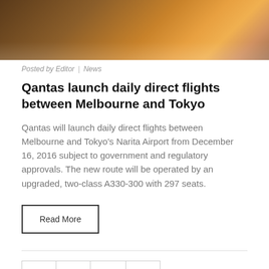[Figure (photo): Hero photograph showing wooden interior surface with warm orange/amber light visible at the right side, partial view of what appears to be an aircraft cabin or lounge area.]
Posted by Editor  |  News
Qantas launch daily direct flights between Melbourne and Tokyo
Qantas will launch daily direct flights between Melbourne and Tokyo's Narita Airport from December 16, 2016 subject to government and regulatory approvals. The new route will be operated by an upgraded, two-class A330-300 with 297 seats.
Read More
1  2  next ›  last »